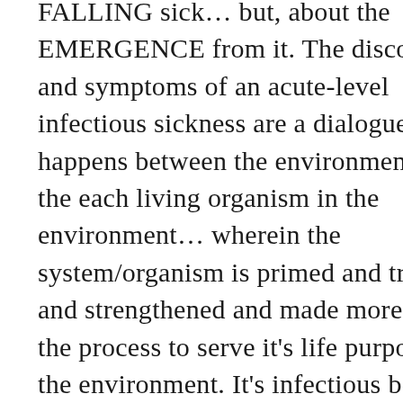FALLING sick… but, about the EMERGENCE from it. The discomforts and symptoms of an acute-level infectious sickness are a dialogue that happens between the environment and the each living organism in the environment… wherein the system/organism is primed and trained and strengthened and made more vital in the process to serve it's life purpose in the environment. It's infectious because everyone in the community needs to go through it, learn from it, integrate it and move on as a community. Once you have gone through it, you don't fear it any more for life. You see, if you lose the fear, or rather come out of the spell that we